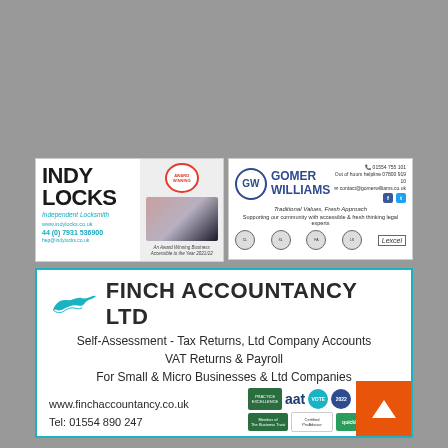[Figure (logo): Indy Locks Independent Locksmith advertisement with logo, contact details: www.indylocks.co.uk, 44 (0) 7931 536900, hep@indylocks.co.uk, and award winning business image]
[Figure (logo): Gomer Williams solicitors advertisement with GW circle logo, contact phone 01554 755 101, email contact@gomerwilliams.co.uk, tagline Traditional Values, Fresh Approach, and partner logos including Lexcel]
[Figure (logo): Finch Accountancy Ltd advertisement with teal bird logo, services: Self-Assessment Tax Returns Ltd Company Accounts, VAT Returns and Payroll, For Small and Micro Businesses and Ltd Companies, website www.finchaccountancy.co.uk, Tel: 01554 890 247, and various accreditation badges]